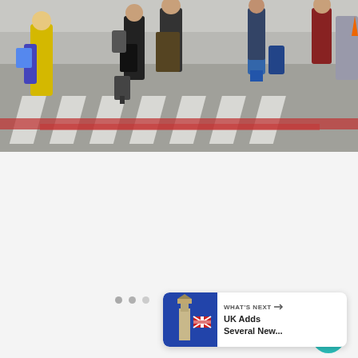[Figure (photo): People walking across a zebra crossing at an airport or public area, carrying luggage and bags, viewed from behind. Crosswalk has red and white stripes painted on dark asphalt.]
[Figure (screenshot): UI overlay showing: heart/like button (teal circle), like count showing 29, share button (teal circle with share icon), navigation dots, and a 'What's Next' card showing a UK news thumbnail with text 'UK Adds Several New...']